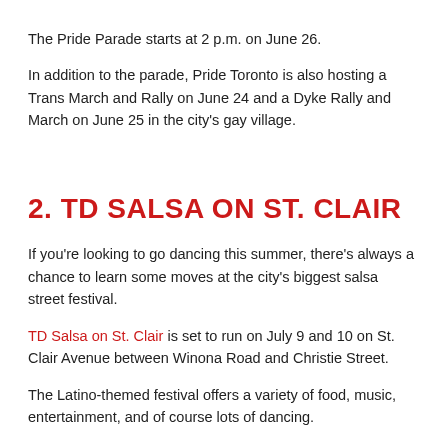The Pride Parade starts at 2 p.m. on June 26.
In addition to the parade, Pride Toronto is also hosting a Trans March and Rally on June 24 and a Dyke Rally and March on June 25 in the city's gay village.
2. TD SALSA ON ST. CLAIR
If you're looking to go dancing this summer, there's always a chance to learn some moves at the city's biggest salsa street festival.
TD Salsa on St. Clair is set to run on July 9 and 10 on St. Clair Avenue between Winona Road and Christie Street.
The Latino-themed festival offers a variety of food, music, entertainment, and of course lots of dancing.